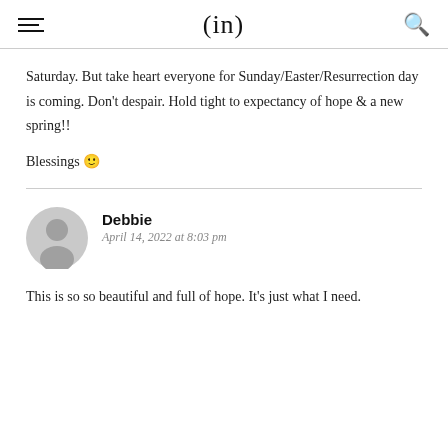(in)
Saturday. But take heart everyone for Sunday/Easter/Resurrection day is coming. Don't despair. Hold tight to expectancy of hope & a new spring!!
Blessings 🙂
Debbie
April 14, 2022 at 8:03 pm
This is so so beautiful and full of hope. It's just what I need.